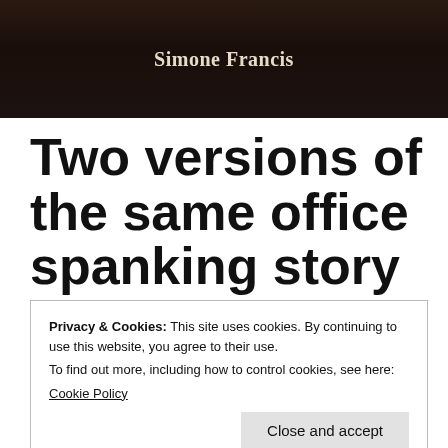[Figure (photo): Dark moody header image with the author name 'Simone Francis' overlaid in decorative serif text on a dark background.]
Two versions of the same office spanking story but featuring different characters and at different stories are set at different times in her
Privacy & Cookies: This site uses cookies. By continuing to use this website, you agree to their use.
To find out more, including how to control cookies, see here:
Cookie Policy
Close and accept